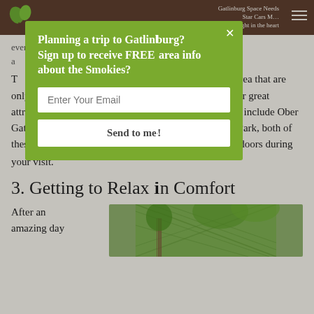Gatlinburg Space Needs | Star Cars Museum | highlight in the heart
[Figure (infographic): Green modal popup overlay on page. Header: 'Planning a trip to Gatlinburg? Sign up to receive FREE area info about the Smokies?' with email input field labeled 'Enter Your Email' and a 'Send to me!' button. Close X button in top right.]
even walk to these a N.
T roughout the Gatlinburg area that are only a short car ride away from our condos. Some other great attractions that you need to check out during your visit include Ober Gatlinburg and the Great Smoky Mountains National Park, both of these locations are great for getting you active and outdoors during your visit.
3. Getting to Relax in Comfort
After an amazing day
[Figure (photo): Photo of outdoor area with lattice/trellis and trees, green foliage visible]